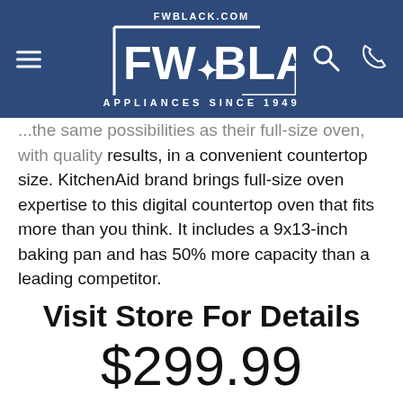[Figure (logo): FW Black Appliances Since 1949 logo with website FWBLACK.COM, navigation hamburger menu, search icon, and phone icon on dark blue background]
...the same possibilities as their full-size oven, with quality results, in a convenient countertop size. KitchenAid brand brings full-size oven expertise to this digital countertop oven that fits more than you think. It includes a 9x13-inch baking pan and has 50% more capacity than a leading competitor.
Visit Store For Details
$299.99
REQUEST MORE INFO